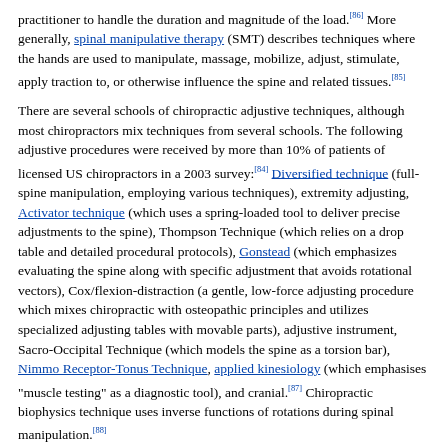practitioner to handle the duration and magnitude of the load.[86] More generally, spinal manipulative therapy (SMT) describes techniques where the hands are used to manipulate, massage, mobilize, adjust, stimulate, apply traction to, or otherwise influence the spine and related tissues.[85]
There are several schools of chiropractic adjustive techniques, although most chiropractors mix techniques from several schools. The following adjustive procedures were received by more than 10% of patients of licensed US chiropractors in a 2003 survey:[84] Diversified technique (full-spine manipulation, employing various techniques), extremity adjusting, Activator technique (which uses a spring-loaded tool to deliver precise adjustments to the spine), Thompson Technique (which relies on a drop table and detailed procedural protocols), Gonstead (which emphasizes evaluating the spine along with specific adjustment that avoids rotational vectors), Cox/flexion-distraction (a gentle, low-force adjusting procedure which mixes chiropractic with osteopathic principles and utilizes specialized adjusting tables with movable parts), adjustive instrument, Sacro-Occipital Technique (which models the spine as a torsion bar), Nimmo Receptor-Tonus Technique, applied kinesiology (which emphasises "muscle testing" as a diagnostic tool), and cranial.[87] Chiropractic biophysics technique uses inverse functions of rotations during spinal manipulation.[88]